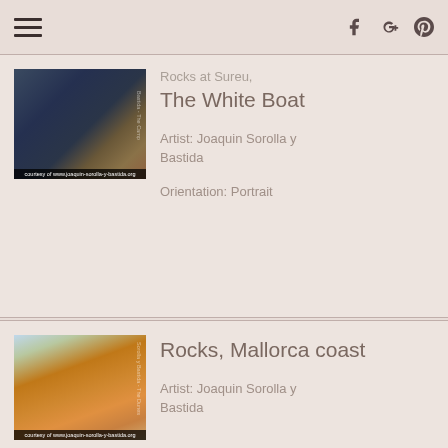Rocks at Sureu, The White Boat
Artist: Joaquin Sorolla y Bastida
Orientation: Portrait
[Figure (photo): Painting of rocky coastal scene with dark stones and water, courtesy of www.joaquin-sorolla-y-bastida.org]
Rocks, Mallorca coast
Artist: Joaquin Sorolla y Bastida
[Figure (photo): Painting of Mallorca coast with orange/golden rocks and blue sky, courtesy of www.joaquin-sorolla-y-bastida.org]